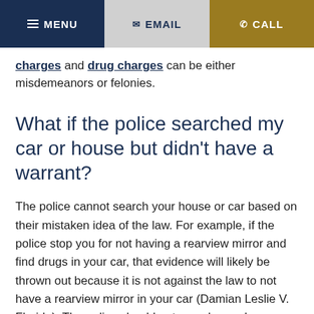MENU | EMAIL | CALL
charges and drug charges can be either misdemeanors or felonies.
What if the police searched my car or house but didn't have a warrant?
The police cannot search your house or car based on their mistaken idea of the law. For example, if the police stop you for not having a rearview mirror and find drugs in your car, that evidence will likely be thrown out because it is not against the law to not have a rearview mirror in your car (Damian Leslie V. Florida). The police should not search your home without your consent and